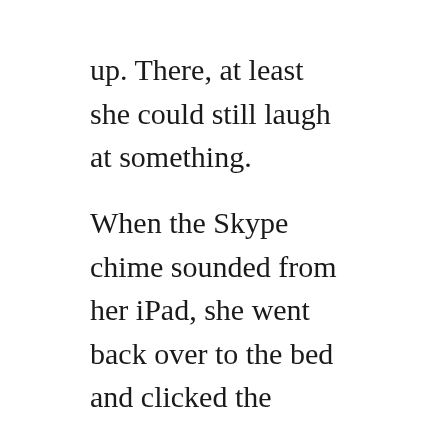up. There, at least she could still laugh at something.

When the Skype chime sounded from her iPad, she went back over to the bed and clicked the